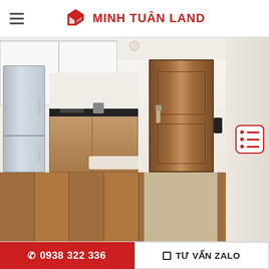MINH TUAN LAND
[Figure (photo): Interior photo of a furnished apartment showing an open-plan kitchen with white upper cabinets, wood-toned lower cabinets, dark countertop, stainless steel refrigerator on the left, a wooden front door in the center background, hardwood flooring, and a small white bath mat on the floor. A list/menu icon overlay appears on the right side of the photo.]
0938 322 336
TƯ VẤN ZALO